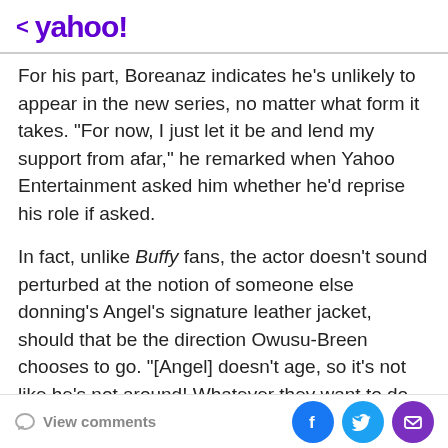< yahoo!
For his part, Boreanaz indicates he's unlikely to appear in the new series, no matter what form it takes. “For now, I just let it be and lend my support from afar,” he remarked when Yahoo Entertainment asked him whether he’d reprise his role if asked.
In fact, unlike Buffy fans, the actor doesn’t sound perturbed at the notion of someone else donning’s Angel’s signature leather jacket, should that be the direction Owusu-Breen chooses to go. “[Angel] doesn’t age, so it’s not like he’s not around! Whatever they want to do with the character, it’s such a wide, huge universe, you can really go anywhere with characters. I think the storylines will somehow reflect what the characters were
View comments